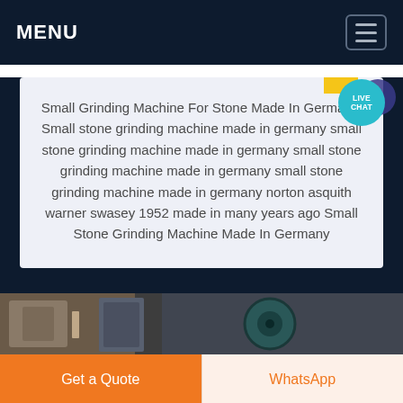MENU
Small Grinding Machine For Stone Made In Germany, Small stone grinding machine made in germany small stone grinding machine made in germany small stone grinding machine made in germany small stone grinding machine made in germany norton asquith warner swasey 1952 made in many years ago Small Stone Grinding Machine Made In Germany
[Figure (photo): Partial view of industrial grinding machinery, dark tones with machinery parts visible]
Get a Quote
WhatsApp